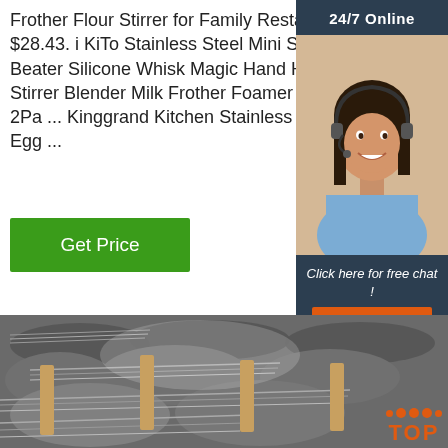Frother Flour Stirrer for Family Restau ... $31.59 $28.43. i KiTo Stainless Steel Mini Spring Egg Beater Silicone Whisk Magic Hand Held Sauce Stirrer Blender Milk Frother Foamer Coffee Mixer 2Pa ... Kinggrand Kitchen Stainless Steel Whisk Egg ...
Get Price
[Figure (photo): Sidebar advertisement with woman wearing headset, '24/7 Online' header, 'Click here for free chat!' text, and orange QUOTATION button on dark navy background]
[Figure (photo): Industrial photo showing coiled steel wire rods bundled together in a warehouse or factory setting]